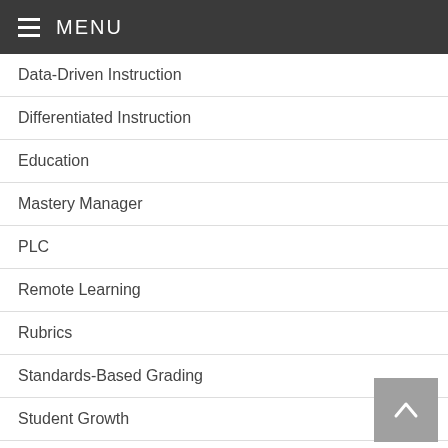MENU
Data-Driven Instruction
Differentiated Instruction
Education
Mastery Manager
PLC
Remote Learning
Rubrics
Standards-Based Grading
Student Growth
Teacher Development
Technology
Uncategorized